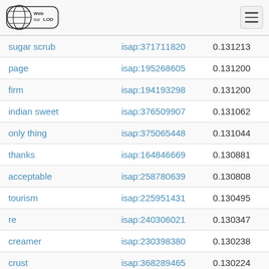Web isa LOD
| sugar scrub | isap:371711820 | 0.131213 |
| page | isap:195268605 | 0.131200 |
| firm | isap:194193298 | 0.131200 |
| indian sweet | isap:376509907 | 0.131062 |
| only thing | isap:375065448 | 0.131044 |
| thanks | isap:164846669 | 0.130881 |
| acceptable | isap:258780639 | 0.130808 |
| tourism | isap:225951431 | 0.130495 |
| re | isap:240306021 | 0.130347 |
| creamer | isap:230398380 | 0.130238 |
| crust | isap:368289465 | 0.130224 |